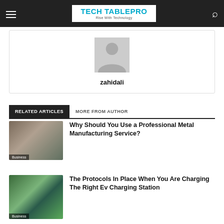TECH TABLEPRO — Rise With Technology
[Figure (illustration): Default user avatar silhouette placeholder image in grey]
zahidali
RELATED ARTICLES   MORE FROM AUTHOR
Why Should You Use a Professional Metal Manufacturing Service?
The Protocols In Place When You Are Charging The Right Ev Charging Station